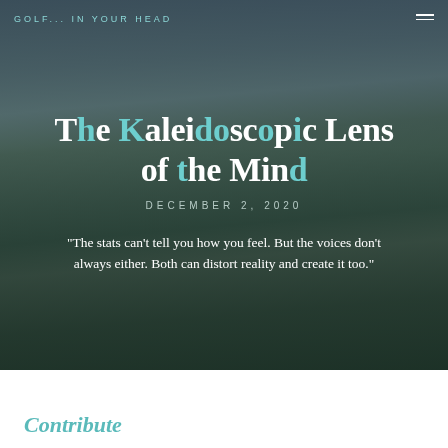GOLF... IN YOUR HEAD
[Figure (photo): Golf course with city skyline backdrop, players and caddie visible in foreground on green]
The Kaleidoscopic Lens of the Mind
DECEMBER 2, 2020
"The stats can't tell you how you feel. But the voices don't always either. Both can distort reality and create it too."
Contribute